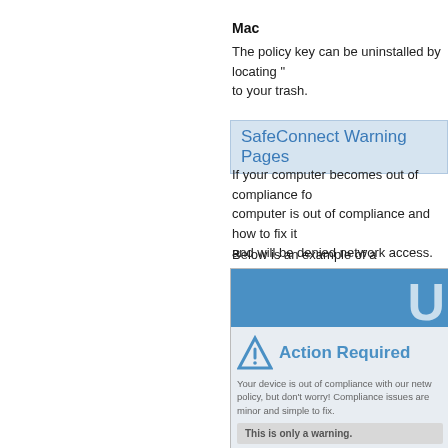Mac
The policy key can be uninstalled by locating " to your trash.
SafeConnect Warning Pages
If your computer becomes out of compliance fo computer is out of compliance and how to fix it and will be denied network access.
Below is an example of a SafeConnect warning
[Figure (screenshot): Screenshot of a SafeConnect warning page showing a blue header, a triangle warning icon, 'Action Required' heading in blue, body text saying 'Your device is out of compliance with our netw policy, but don't worry! Compliance issues are minor and simple to fix.', and a gray box at the bottom reading 'This is only a warning.']